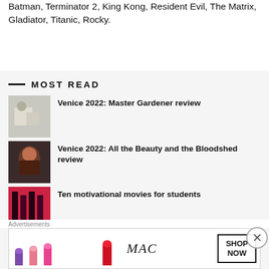Batman, Terminator 2, King Kong, Resident Evil, The Matrix, Gladiator, Titanic, Rocky.
MOST READ
Venice 2022: Master Gardener review
Venice 2022: All the Beauty and the Bloodshed review
Ten motivational movies for students
Why Casablanca is one of the greatest movies ever
Advertisements